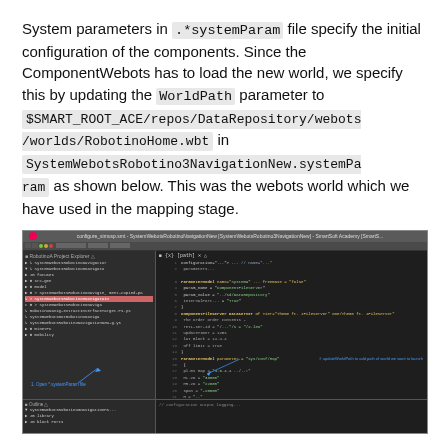System parameters in .*systemParam file specify the initial configuration of the components. Since the ComponentWebots has to load the new world, we specify this by updating the WorldPath parameter to $SMART_ROOT_ACE/repos/DataRepository/webots/worlds/RobotinoHome.wbt in SystemWebotsRobotino3NavigationNew.systemParam as shown below. This was the webots world which we have used in the mapping stage.
[Figure (screenshot): Screenshot of an IDE (Eclipse or similar) showing a project explorer on the left with a file tree including SystemWebotsRobotino3NavigationNew entries. On the right, code editor showing systemParam configuration with ComponentFileServer, ParameterModel entries and WorldPath parameter being set to $SMART_ROOT_ACE/repos/DataRepository/webots/worlds/RobotinoHome.wbt. Annotations with arrows point to: '1. Open *.systemParam file' and 'f: updateWorldPath to add path of world we want to launch'.]